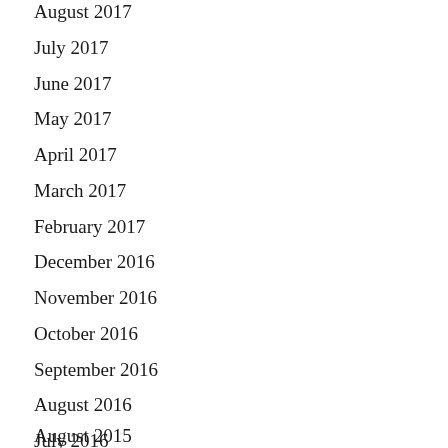August 2017
July 2017
June 2017
May 2017
April 2017
March 2017
February 2017
December 2016
November 2016
October 2016
September 2016
August 2016
July 2016
May 2016
April 2016
March 2016
August 2015